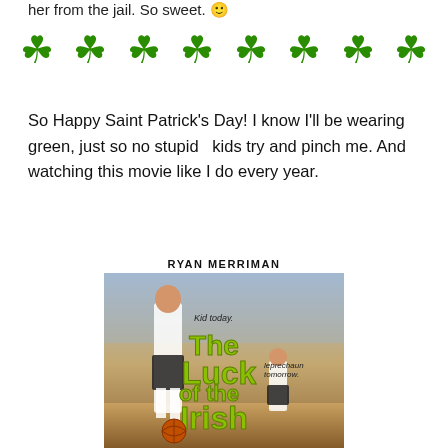her from the jail. So sweet. 🙂
[Figure (illustration): A row of eight green four-leaf clover emojis spaced evenly across the page.]
So Happy Saint Patrick's Day! I know I'll be wearing green, just so no stupid  kids try and pinch me. And watching this movie like I do every year.
[Figure (photo): Movie poster for 'The Luck of the Irish' featuring actor Ryan Merriman. Shows a teenage boy in a basketball uniform with the text 'Kid today.' and 'leprechaun tomorrow.' The movie title 'The Luck of the Irish' is in large green letters.]